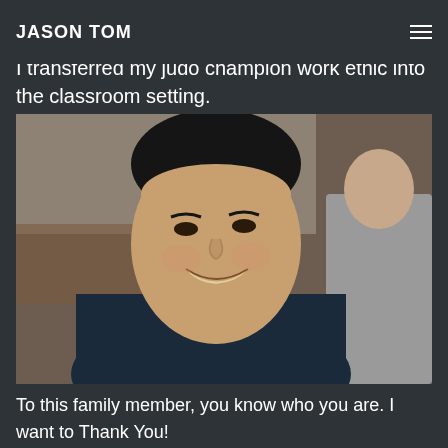JASON TOM
I transferred my judo champion work ethic into the classroom setting.
[Figure (photo): A young Asian man smiling, wearing a dark navy hoodie, seated in what appears to be a classroom or cafeteria. Another person in a gray shirt is partially visible to the right.]
To this family member, you know who you are. I want to Thank You!